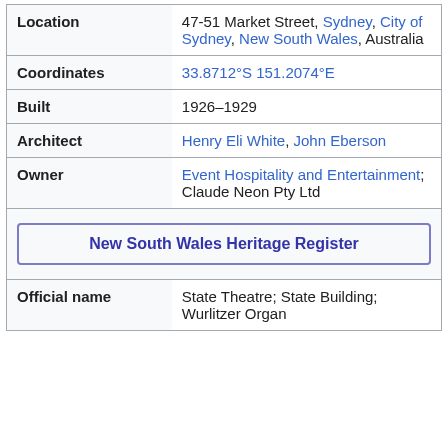| Field | Value |
| --- | --- |
| Location | 47-51 Market Street, Sydney, City of Sydney, New South Wales, Australia |
| Coordinates | 33.8712°S 151.2074°E |
| Built | 1926–1929 |
| Architect | Henry Eli White, John Eberson |
| Owner | Event Hospitality and Entertainment; Claude Neon Pty Ltd |
| New South Wales Heritage Register |  |
| Official name | State Theatre; State Building; Wurlitzer Organ |